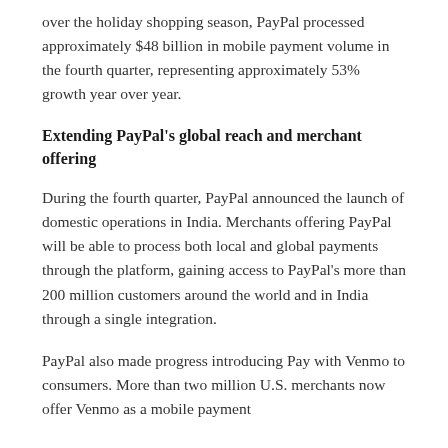over the holiday shopping season, PayPal processed approximately $48 billion in mobile payment volume in the fourth quarter, representing approximately 53% growth year over year.
Extending PayPal's global reach and merchant offering
During the fourth quarter, PayPal announced the launch of domestic operations in India. Merchants offering PayPal will be able to process both local and global payments through the platform, gaining access to PayPal's more than 200 million customers around the world and in India through a single integration.
PayPal also made progress introducing Pay with Venmo to consumers. More than two million U.S. merchants now offer Venmo as a mobile payment